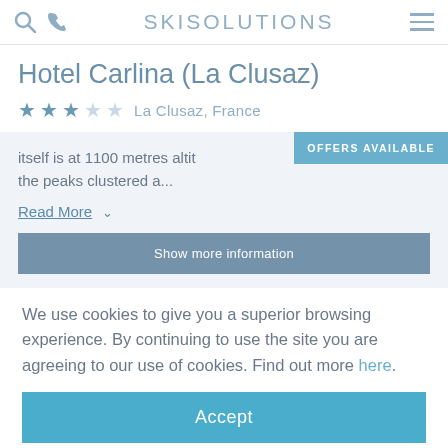SKI SOLUTIONS
Hotel Carlina (La Clusaz)
★★★☆☆ La Clusaz, France
itself is at 1100 metres altit the peaks clustered a...
OFFERS AVAILABLE
Read More
We use cookies to give you a superior browsing experience. By continuing to use the site you are agreeing to our use of cookies. Find out more here.
Accept